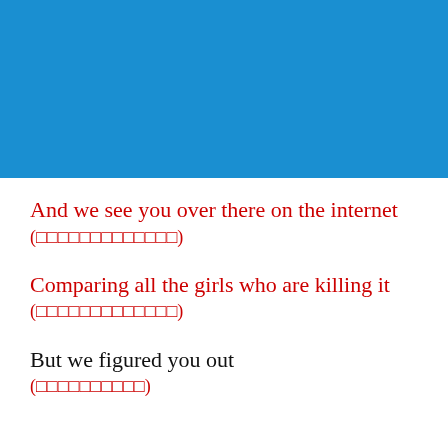[Figure (other): Solid blue rectangular header banner]
And we see you over there on the internet
(□□□□□□□□□□□□□)
Comparing all the girls who are killing it
(□□□□□□□□□□□□□)
But we figured you out
(□□□□□□□□□□)